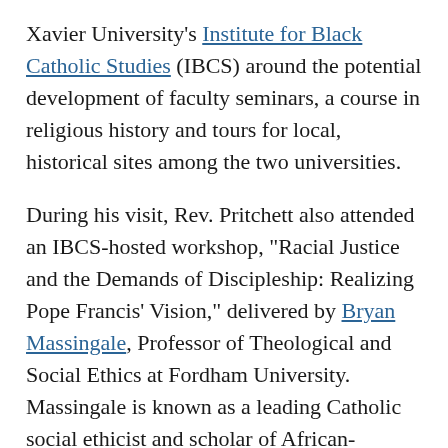Xavier University's Institute for Black Catholic Studies (IBCS) around the potential development of faculty seminars, a course in religious history and tours for local, historical sites among the two universities.
During his visit, Rev. Pritchett also attended an IBCS-hosted workshop, "Racial Justice and the Demands of Discipleship: Realizing Pope Francis' Vision," delivered by Bryan Massingale, Professor of Theological and Social Ethics at Fordham University. Massingale is known as a leading Catholic social ethicist and scholar of African-American theological ethics, racial justice and liberation theology.
Following the workshop, Rev. Pritchett traveled to New Iberia, where he met Auxiliary Bishop Perry at an event supporting the sainthood for Tolton, who was also the